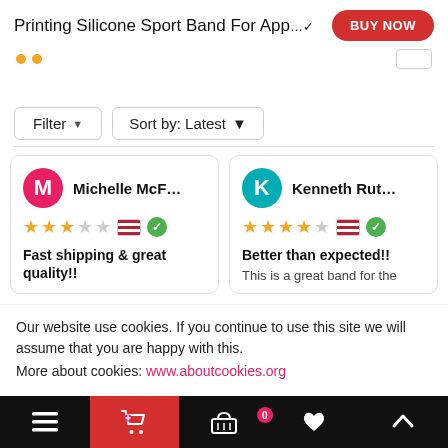Printing Silicone Sport Band For App…
Filter   Sort by: Latest
M  Michelle McF…  ★★★☆☆  Fast shipping & great quality!!
K  Kenneth Rut…  ★★★★☆  Better than expected!!  This is a great band for the
Our website use cookies. If you continue to use this site we will assume that you are happy with this.
More about cookies: www.aboutcookies.org